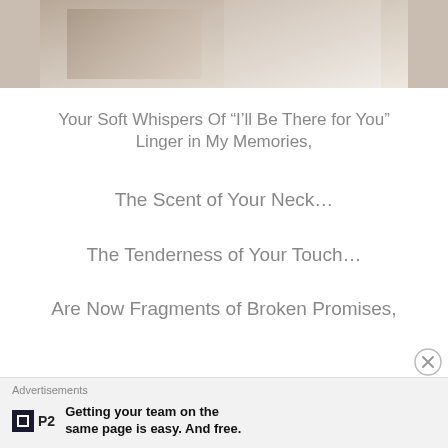[Figure (photo): Couple in bed, woman sitting up looking away from man lying down, bedroom scene]
Your Soft Whispers Of “I’ll Be There for You” Linger in My Memories,
The Scent of Your Neck...
The Tenderness of Your Touch...
Are Now Fragments of Broken Promises,
Advertisements
Getting your team on the same page is easy. And free.